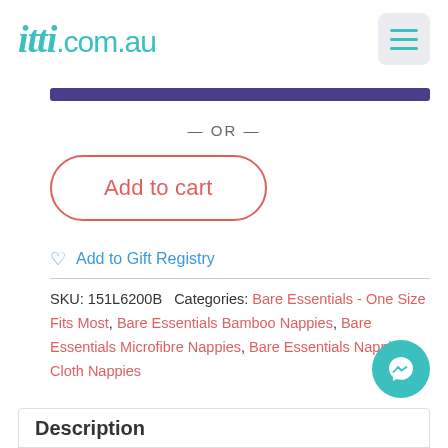[Figure (logo): itti.com.au logo in teal color with hamburger menu button]
— OR —
Add to cart
Add to Gift Registry
SKU: 151L6200B  Categories: Bare Essentials - One Size Fits Most, Bare Essentials Bamboo Nappies, Bare Essentials Microfibre Nappies, Bare Essentials Nappies, Cloth Nappies
Description